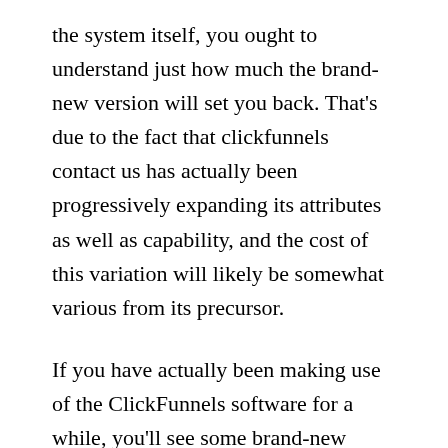the system itself, you ought to understand just how much the brand-new version will set you back. That's due to the fact that clickfunnels contact us has actually been progressively expanding its attributes as well as capability, and the cost of this variation will likely be somewhat various from its precursor.
If you have actually been making use of the ClickFunnels software for a while, you'll see some brand-new attributes. Unlike its previous versions, this variation is much faster as well as smoother. This is since the